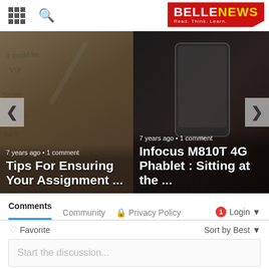BELLENEWS - Read. Think. Learn.
[Figure (screenshot): Left slide card: handwriting/pen background, nav arrow left, '7 years ago • 1 comment', title 'Tips For Ensuring Your Assignment ...']
[Figure (screenshot): Right slide card: smartphone/device background, nav arrow right, '7 years ago • 1 comment', title 'Infocus M810T 4G Phablet : Sitting at the ...']
Comments
Community  🔒 Privacy Policy  1 Login
♡ Favorite  Sort by Best
Start the discussion...
LOG IN WITH
Privacy & Cookies Policy